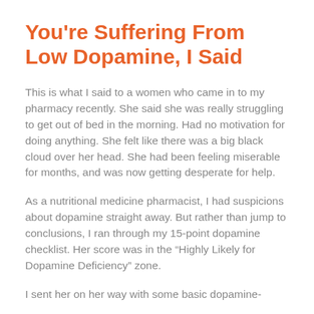You're Suffering From Low Dopamine, I Said
This is what I said to a women who came in to my pharmacy recently. She said she was really struggling to get out of bed in the morning. Had no motivation for doing anything. She felt like there was a big black cloud over her head. She had been feeling miserable for months, and was now getting desperate for help.
As a nutritional medicine pharmacist, I had suspicions about dopamine straight away. But rather than jump to conclusions, I ran through my 15-point dopamine checklist. Her score was in the “Highly Likely for Dopamine Deficiency” zone.
I sent her on her way with some basic dopamine-